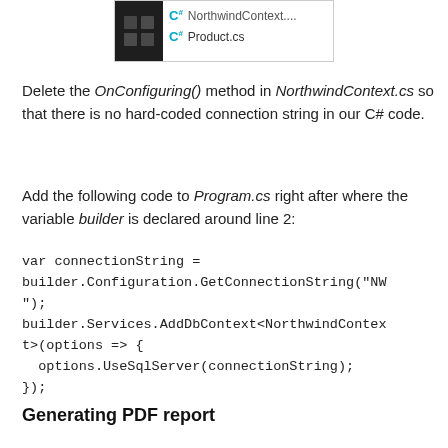[Figure (screenshot): Visual Studio solution explorer showing NorthwindContext... and Product.cs files with a dark VS logo icon on the left]
Delete the OnConfiguring() method in NorthwindContext.cs so that there is no hard-coded connection string in our C# code.
Add the following code to Program.cs right after where the variable builder is declared around line 2:
Generating PDF report